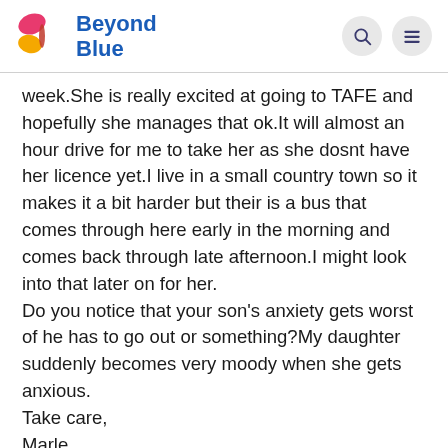Beyond Blue
week.She is really excited at going to TAFE and hopefully she manages that ok.It will almost an hour drive for me to take her as she dosnt have her licence yet.I live in a small country town so it makes it a bit harder but their is a bus that comes through here early in the morning and comes back through late afternoon.I might look into that later on for her.
Do you notice that your son's anxiety gets worst of he has to go out or something?My daughter suddenly becomes very moody when she gets anxious.
Take care,
Marle